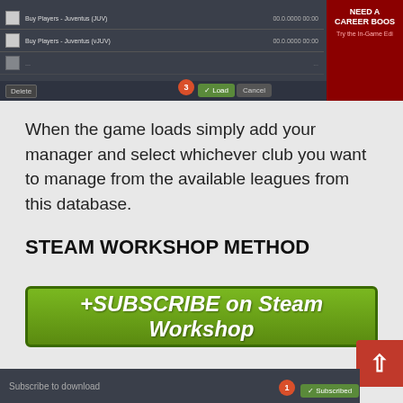[Figure (screenshot): Top portion: Game UI screenshot showing a save file list with player names and dates, a Load and Cancel button with a circled number 3, and a red advertisement panel on the right saying NEED A CAREER BOOS / Try the In-Game Edi]
When the game loads simply add your manager and select whichever club you want to manage from the available leagues from this database.
STEAM WORKSHOP METHOD
[Figure (screenshot): Green button with text +SUBSCRIBE on Steam Workshop]
[Figure (screenshot): Bottom screenshot showing Subscribe to download text with circled number 1 and Subscribed button]